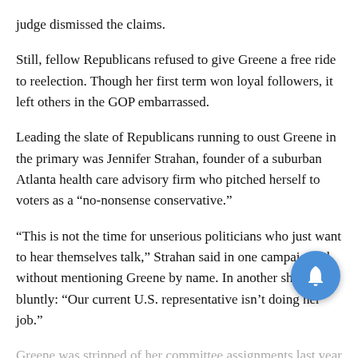judge dismissed the claims.
Still, fellow Republicans refused to give Greene a free ride to reelection. Though her first term won loyal followers, it left others in the GOP embarrassed.
Leading the slate of Republicans running to oust Greene in the primary was Jennifer Strahan, founder of a suburban Atlanta health care advisory firm who pitched herself to voters as a “no-nonsense conservative.”
“This is not the time for unserious politicians who just want to hear themselves talk,” Strahan said in one campaign ad without mentioning Greene by name. In another she said bluntly: “Our current U.S. representative isn’t doing her job.”
Greene was stripped of her committee assignments last year